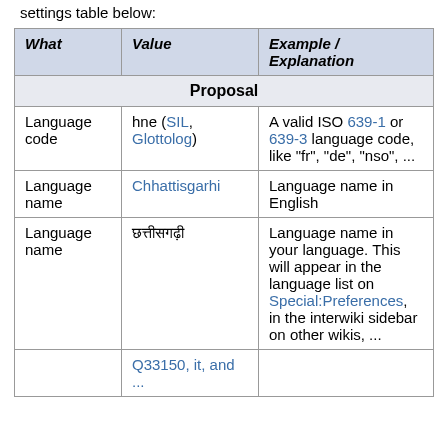settings table below:
| What | Value | Example / Explanation |
| --- | --- | --- |
| (merged: Proposal) |  |  |
| Language code | hne (SIL, Glottolog) | A valid ISO 639-1 or 639-3 language code, like "fr", "de", "nso", ... |
| Language name | Chhattisgarhi | Language name in English |
| Language name | छत्तीसगढ़ी | Language name in your language. This will appear in the language list on Special:Preferences, in the interwiki sidebar on other wikis, ... |
|  | Q33150, it, and ... |  |